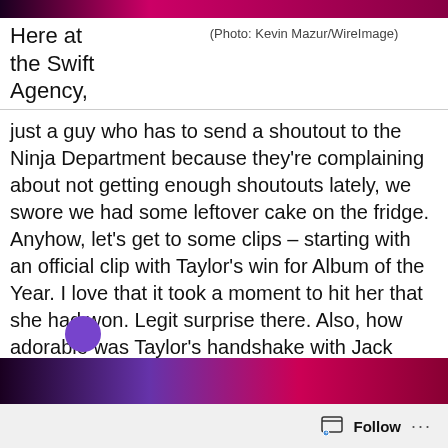[Figure (photo): Top portion of a photo with pink/magenta background, partially cropped at top of page]
(Photo: Kevin Mazur/WireImage)
Here at the Swift Agency, just a guy who has to send a shoutout to the Ninja Department because they’re complaining about not getting enough shoutouts lately, we swore we had some leftover cake on the fridge. Anyhow, let’s get to some clips – starting with an official clip with Taylor’s win for Album of the Year. I love that it took a moment to hit her that she had won. Legit surprise there. Also, how adorable was Taylor’s handshake with Jack Antonoff? And finally, I did love how she walks over to Kendrick Lamar to give him a hug. And yes, of course the speech which I could write a hundred more editorials about 🙂
[Figure (photo): Bottom portion showing partial view of another image with dark purple/red tones and a purple circular element]
Follow ...